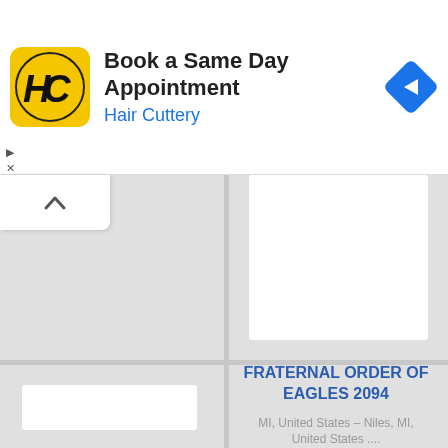[Figure (screenshot): Advertisement banner for Hair Cuttery with logo, title 'Book a Same Day Appointment', subtitle 'Hair Cuttery', and navigation arrow icon on right]
[Figure (screenshot): Google Maps-style interface showing a grid layout with a chevron button, white card panels, and a location info panel for 'FRATERNAL ORDER OF EAGLES 2094' in Niles, MI, United States]